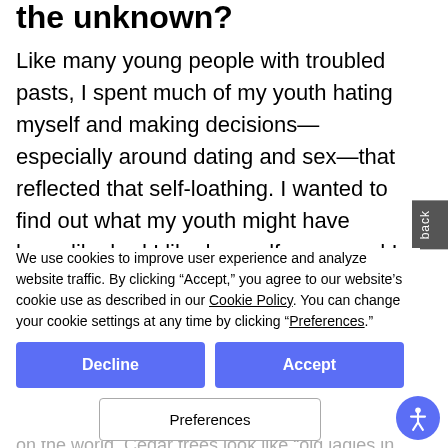the unknown?
Like many young people with troubled pasts, I spent much of my youth hating myself and making decisions—especially around dating and sex—that reflected that self-loathing. I wanted to find out what my youth might have been like had I liked myself more, and I began writing an exploratory essay looking at real moments from my past and asking the question: What if I had done this instead
that? Pretty soon characters and a storyline emerged, an
We use cookies to improve user experience and analyze website traffic. By clicking "Accept," you agree to our website's cookie use as described in our Cookie Policy. You can change your cookie settings at any time by clicking "Preferences."
Tell us more about Talia. What makes her tick?
Talia is artsy and quirky and has a unique take on the world. Cedar trees look like "old ladies in raincoats", another night she dreams that she and her roommate ar a punk band called "Kosher Chicken Vagina"— total h
[Figure (other): Accessibility button (circular blue button with person icon) in bottom-right corner]